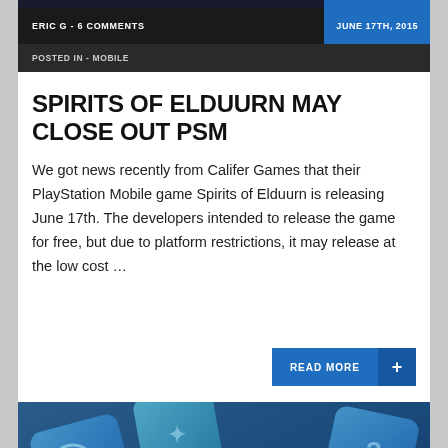ERIC G - 6 COMMENTS | JUNE 17TH, 2015
POSTED IN - MOBILE
SPIRITS OF ELDUURN MAY CLOSE OUT PSM
We got news recently from Califer Games that their PlayStation Mobile game Spirits of Elduurn is releasing June 17th. The developers intended to release the game for free, but due to platform restrictions, it may release at the low cost …
READ MORE +
[Figure (photo): Banner image showing PlayStation Mobile Update with game controller tiles in blue tones]